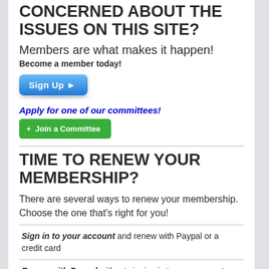CONCERNED ABOUT THE ISSUES ON THIS SITE?
Members are what makes it happen!
Become a member today!
[Figure (other): Blue 'Sign Up ▶' button with shadow beneath]
Apply for one of our committees!
[Figure (other): Green '+ Join a Committee' button]
TIME TO RENEW YOUR MEMBERSHIP?
There are several ways to renew your membership. Choose the one that's right for you!
Sign in to your account and renew with Paypal or a credit card
Renew with Paypal without signing in to your account
Send your renewal amount